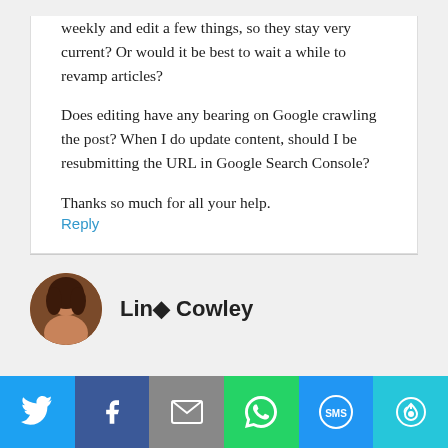weekly and edit a few things, so they stay very current?  Or would it be best to wait a while to revamp articles?
Does editing have any bearing on Google crawling the post?  When I do update content, should I be resubmitting the URL in Google Search Console?
Thanks so much for all your help.
Reply
Lino Cowley
[Figure (infographic): Social sharing bar with Twitter, Facebook, Email, WhatsApp, SMS, and More buttons]